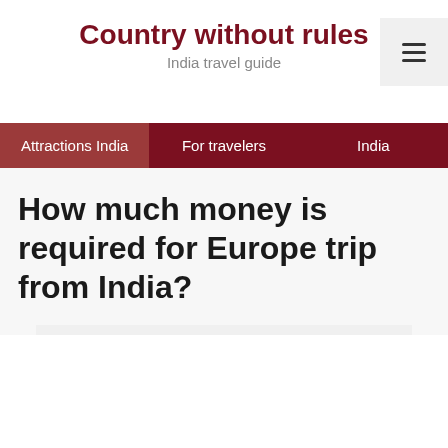Country without rules
India travel guide
Attractions India	For travelers	India
How much money is required for Europe trip from India?